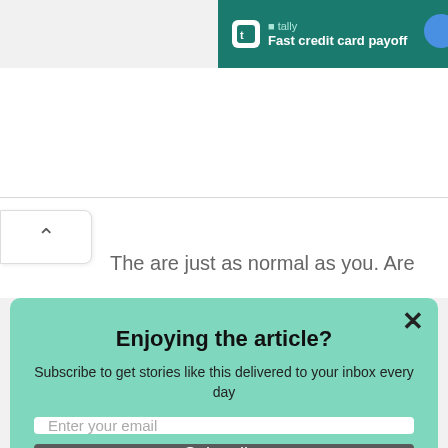[Figure (screenshot): Tally ad banner with dark green background, Tally logo icon, text 'tally' and 'Fast credit card payoff', and blue circle button on right edge]
[Figure (screenshot): Collapse/chevron up button on left side of white page area]
The are just as normal as you. Are
Enjoying the article?
Subscribe to get stories like this delivered to your inbox every day
Enter your email
Subscribe
powered by MailMunch